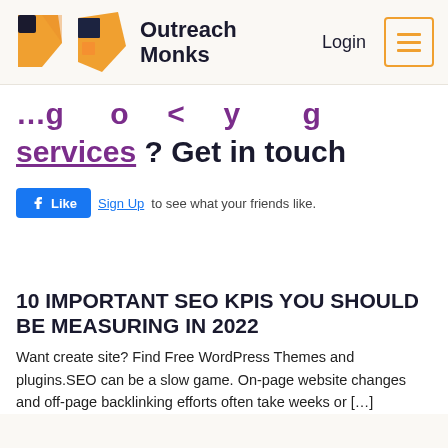Outreach Monks — Login navigation
…link to guest posting services? Get in touch
[Figure (screenshot): Facebook Like widget with Sign Up link and text 'to see what your friends like.']
10 IMPORTANT SEO KPIS YOU SHOULD BE MEASURING IN 2022
Want create site? Find Free WordPress Themes and plugins.SEO can be a slow game. On-page website changes and off-page backlinking efforts often take weeks or […]